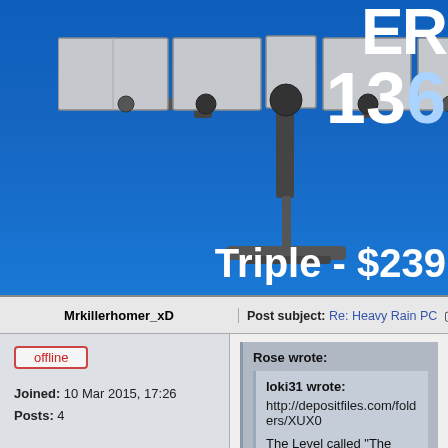[Figure (photo): Advertisement banner with blue gradient background showing a triple monitor mount stand product image on the left, and bold white text on the right reading 'ER', '136', 'Triple - $239']
Mrkillerhomer_xD
Post subject: Re: Heavy Rain PC  Posted: 26 J
offline
Joined: 10 Mar 2015, 17:26
Posts: 4
Rose wrote:
loki31 wrote:
http://depositfiles.com/folders/XUX0
The Level called "The park".
There are timeouts after each downloa the website. You should pack the who into an archive, then upload it to some
https://www.zippyshare.com/